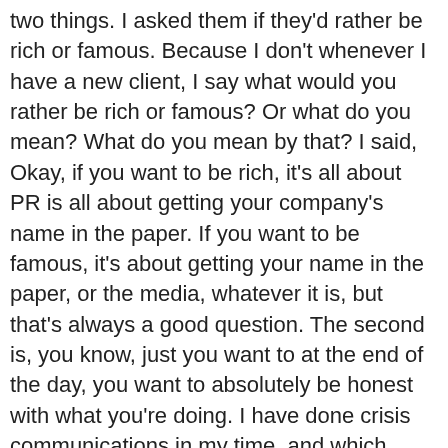two things. I asked them if they'd rather be rich or famous. Because I don't whenever I have a new client, I say what would you rather be rich or famous? Or what do you mean? What do you mean by that? I said, Okay, if you want to be rich, it's all about PR is all about getting your company's name in the paper. If you want to be famous, it's about getting your name in the paper, or the media, whatever it is, but that's always a good question. The second is, you know, just you want to at the end of the day, you want to absolutely be honest with what you're doing. I have done crisis communications in my time, and which, which is basically if a client was imperil, for some reason, let's say they had somebody on their staff that embezzled money or somebody went to jail, or there was really a big problem like that, I've done that kind of work. I now outsource that, like if I have a client that has that, because there are people to do a way better than me. But I always say what, at the end of the day, my best day, I always say what is your best day? Like? What makes you the happiest? What is your best